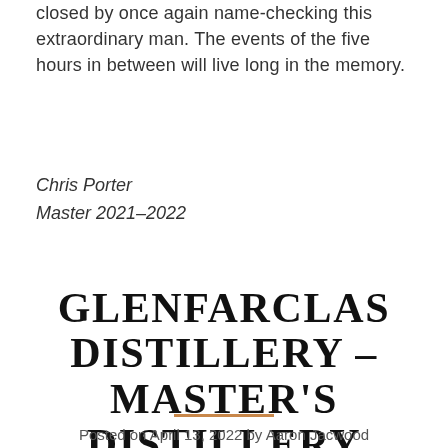closed by once again name-checking this extraordinary man. The events of the five hours in between will live long in the memory.
Chris Porter
Master 2021-2022
GLENFARCLAS DISTILLERY – MASTER'S DISTILLERY VISIT
Posted on April 13, 2022 by Aaron Jacwood